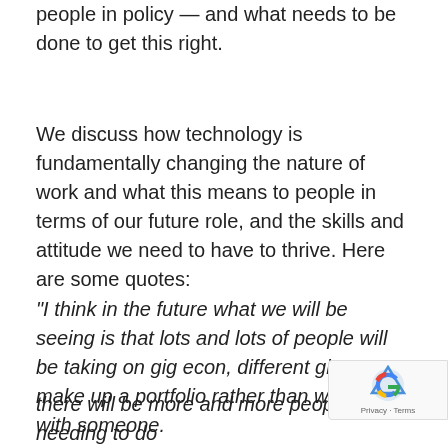people in policy — and what needs to be done to get this right.
We discuss how technology is fundamentally changing the nature of work and what this means to people in terms of our future role, and the skills and attitude we need to have to thrive. Here are some quotes:
“I think in the future what we will be seeing is that lots and lots of people will be taking on gig econ, different gigs to make up a portfolio rather than working with someone.
there will be more and more people needing to do